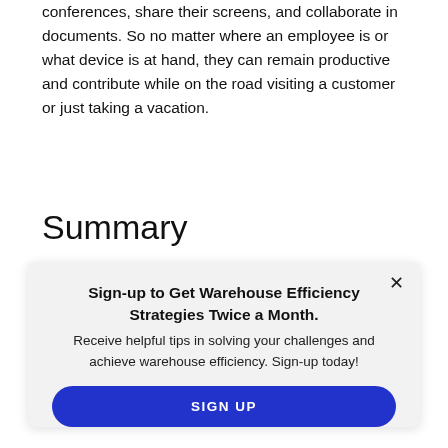conferences, share their screens, and collaborate in documents. So no matter where an employee is or what device is at hand, they can remain productive and contribute while on the road visiting a customer or just taking a vacation.
Summary
Large, well-funded companies are no longer the only
[Figure (other): Popup modal with newsletter sign-up call to action. Contains a close button (×), title 'Sign-up to Get Warehouse Efficiency Strategies Twice a Month.', body text 'Receive helpful tips in solving your challenges and achieve warehouse efficiency. Sign-up today!', and a blue 'SIGN UP' button.]